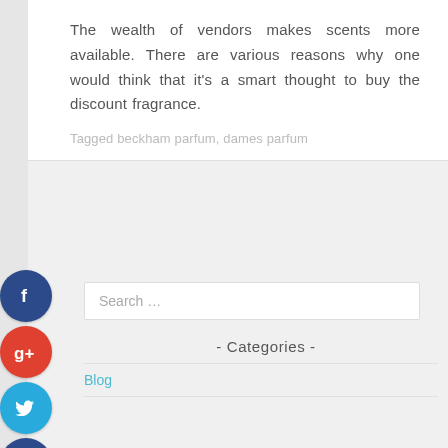The wealth of vendors makes scents more available. There are various reasons why one would think that it's a smart thought to buy the discount fragrance.
Tagged beckham parfum, dames parfum
Search …
- Categories -
Blog